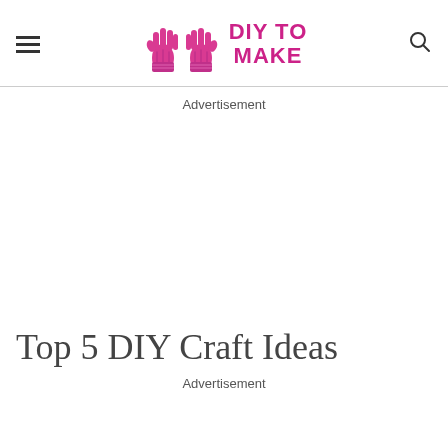DIY TO MAKE
Advertisement
Top 5 DIY Craft Ideas
Advertisement